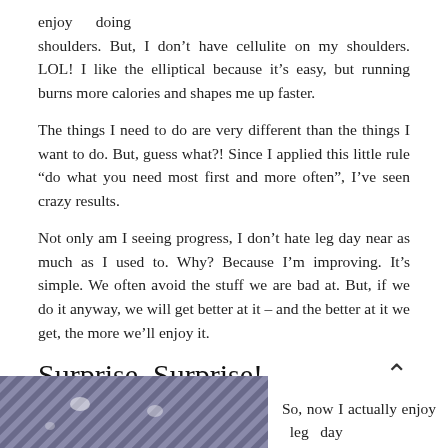enjoy doing shoulders. But, I don’t have cellulite on my shoulders. LOL! I like the elliptical because it’s easy, but running burns more calories and shapes me up faster.
The things I need to do are very different than the things I want to do. But, guess what?! Since I applied this little rule “do what you need most first and more often”, I’ve seen crazy results.
Not only am I seeing progress, I don’t hate leg day near as much as I used to. Why? Because I’m improving. It’s simple. We often avoid the stuff we are bad at. But, if we do it anyway, we will get better at it – and the better at it we get, the more we’ll enjoy it.
Surprise, Surprise!
[Figure (photo): Close-up photo showing diagonal striped or ridged texture, appears to be fabric or a surface with repeating linear pattern in purple/grey tones with some light spots.]
So, now I actually enjoy leg day